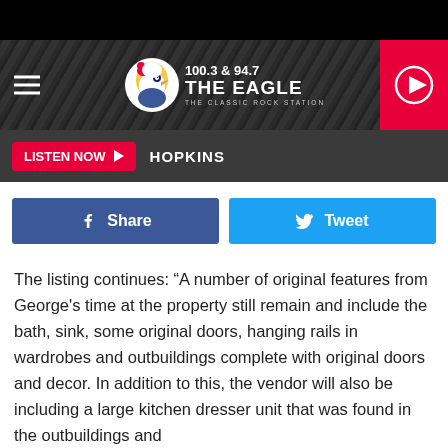[Figure (screenshot): Website header for 100.3 & 94.7 The Eagle – The Classic Rock Station, with hamburger menu, eagle logo, and red play button]
[Figure (screenshot): Listen Now bar with red button and HOPKINS text]
[Figure (screenshot): Facebook Share and Twitter Tweet social buttons]
The listing continues: “A number of original features from George's time at the property still remain and include the bath, sink, some original doors, hanging rails in wardrobes and outbuildings complete with original doors and decor. In addition to this, the vendor will also be including a large kitchen dresser unit that was found in the outbuildings and